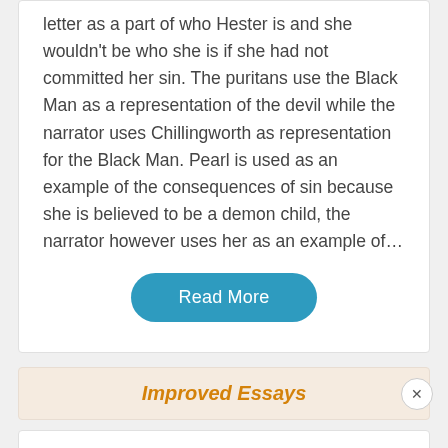letter as a part of who Hester is and she wouldn't be who she is if she had not committed her sin. The puritans use the Black Man as a representation of the devil while the narrator uses Chillingworth as representation for the Black Man. Pearl is used as an example of the consequences of sin because she is believed to be a demon child, the narrator however uses her as an example of…
Read More
Improved Essays
SAMSUNG GALAXY S21 5G
Ad | An AMG Site